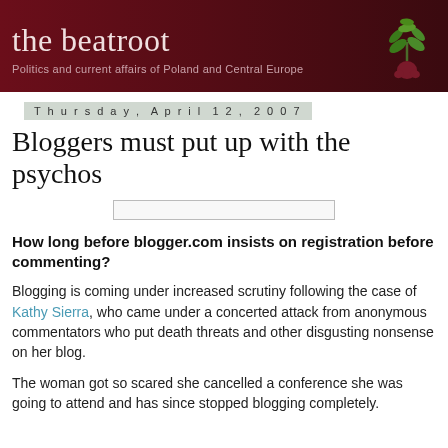the beatroot — Politics and current affairs of Poland and Central Europe
Thursday, April 12, 2007
Bloggers must put up with the psychos
How long before blogger.com insists on registration before commenting?
Blogging is coming under increased scrutiny following the case of Kathy Sierra, who came under a concerted attack from anonymous commentators who put death threats and other disgusting nonsense on her blog.
The woman got so scared she cancelled a conference she was going to attend and has since stopped blogging completely.